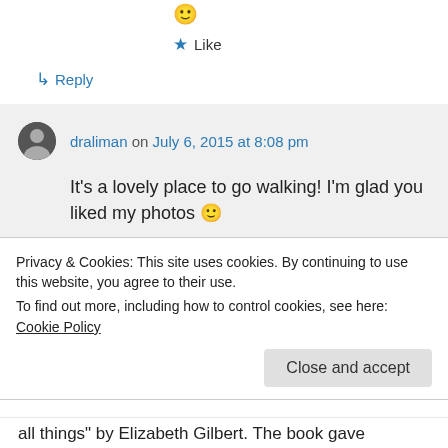[Figure (other): Smiley emoji 🙂 at top of page]
★ Like
↳ Reply
draliman on July 6, 2015 at 8:08 pm
It's a lovely place to go walking! I'm glad you liked my photos 🙂
★ Liked by 1 person
Privacy & Cookies: This site uses cookies. By continuing to use this website, you agree to their use.
To find out more, including how to control cookies, see here: Cookie Policy
Close and accept
all things" by Elizabeth Gilbert. The book gave